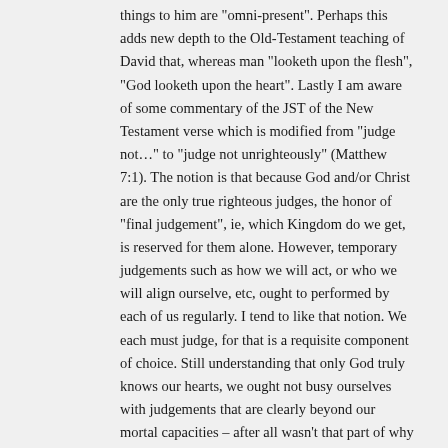things to him are "omni-present". Perhaps this adds new depth to the Old-Testament teaching of David that, whereas man "looketh upon the flesh", "God looketh upon the heart". Lastly I am aware of some commentary of the JST of the New Testament verse which is modified from "judge not..." to "judge not unrighteously" (Matthew 7:1). The notion is that because God and/or Christ are the only true righteous judges, the honor of "final judgement", ie, which Kingdom do we get, is reserved for them alone. However, temporary judgements such as how we will act, or who we will align ourselve, etc, ought to performed by each of us regularly. I tend to like that notion. We each must judge, for that is a requisite component of choice. Still understanding that only God truly knows our hearts, we ought not busy ourselves with judgements that are clearly beyond our mortal capacities – after all wasn't that part of why the atonement was necessary, so that Christ might know how to succor his children. The